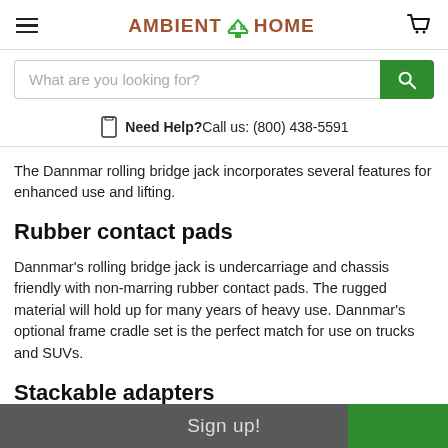AMBIENT HOME
What are you looking for?
Need Help? Call us: (800) 438-5591
The Dannmar rolling bridge jack incorporates several features for enhanced use and lifting.
Rubber contact pads
Dannmar's rolling bridge jack is undercarriage and chassis friendly with non-marring rubber contact pads. The rugged material will hold up for many years of heavy use. Dannmar's optional frame cradle set is the perfect match for use on trucks and SUVs.
Stackable adapters
Sign up!